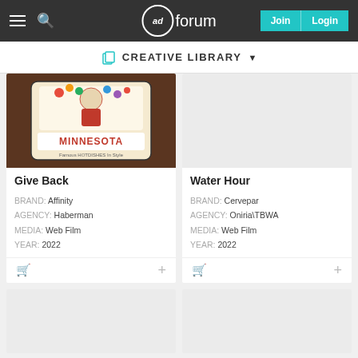adforum — Join | Login
CREATIVE LIBRARY
[Figure (photo): Minnesota vintage license plate or sign with red illustration on wooden background]
Give Back
BRAND: Affinity
AGENCY: Haberman
MEDIA: Web Film
YEAR: 2022
[Figure (photo): Empty gray placeholder image for Water Hour]
Water Hour
BRAND: Cervepar
AGENCY: Oniria\TBWA
MEDIA: Web Film
YEAR: 2022
[Figure (photo): Empty gray placeholder image, card 3]
[Figure (photo): Empty gray placeholder image, card 4]